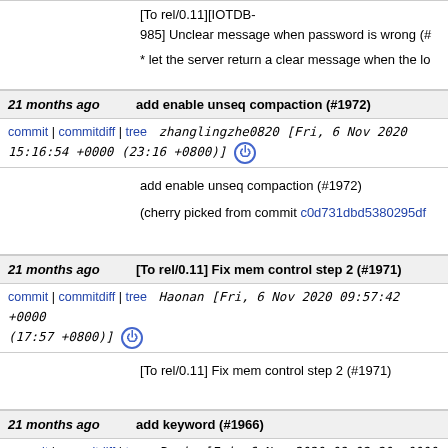[To rel/0.11][IOTDB-985] Unclear message when password is wrong (#
* let the server return a clear message when the lo
21 months ago | add enable unseq compaction (#1972)
commit | commitdiff | tree   zhanglingzhe0820 [Fri, 6 Nov 2020 15:16:54 +0000 (23:16 +0800)]
add enable unseq compaction (#1972)
(cherry picked from commit c0d731dbd5380295df
21 months ago | [To rel/0.11] Fix mem control step 2 (#1971)
commit | commitdiff | tree   Haonan [Fri, 6 Nov 2020 09:57:42 +0000 (17:57 +0800)]
[To rel/0.11] Fix mem control step 2 (#1971)
21 months ago | add keyword (#1966)
commit | commitdiff | tree   Boris [Fri, 6 Nov 2020 09:02:20 +0000 (17:02 +0800)]
add keyword (#1966)